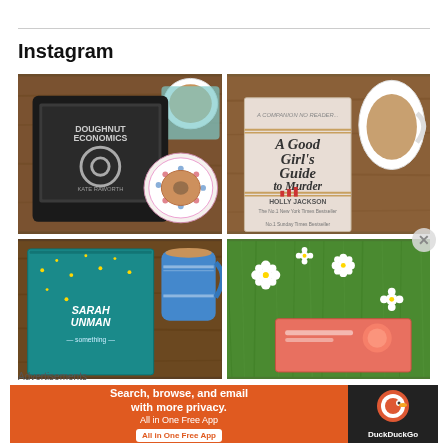Instagram
[Figure (photo): Flatlay on wooden table: Kindle e-reader showing 'Doughnut Economics' by Kate Raworth, a glazed donut on a decorative blue/red plate, and a white mug of tea on a patterned coaster]
[Figure (photo): Flatlay on wooden table: book 'A Good Girl's Guide to Murder' by Holly Jackson with rope/twine detail on cover, and a white mug of milky tea]
[Figure (photo): Flatlay on wooden table: teal book by Sarah Unman with gold star lights, and a blue patterned mug of tea]
[Figure (photo): Flatlay in green grass with white daisies: a coral/pink book partially visible]
Advertisements
[Figure (other): DuckDuckGo advertisement banner: orange background with text 'Search, browse, and email with more privacy. All in One Free App' and DuckDuckGo logo on dark background]